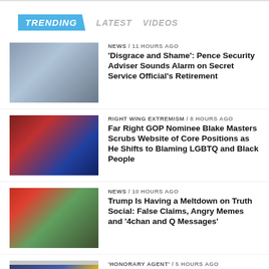TRENDING  LATEST  VIDEOS
NEWS / 11 hours ago — 'Disgrace and Shame': Pence Security Adviser Sounds Alarm on Secret Service Official's Retirement
RIGHT WING EXTREMISM / 8 hours ago — Far Right GOP Nominee Blake Masters Scrubs Website of Core Positions as He Shifts to Blaming LGBTQ and Black People
NEWS / 10 hours ago — Trump Is Having a Meltdown on Truth Social: False Claims, Angry Memes and '4chan and Q Messages'
'HONORARY AGENT' / 5 hours ago — 'Entire Village People Roster?': Herschel Walker Mocked for Claiming He 'Served the Blue' as a [Special Deputy Sheriff]